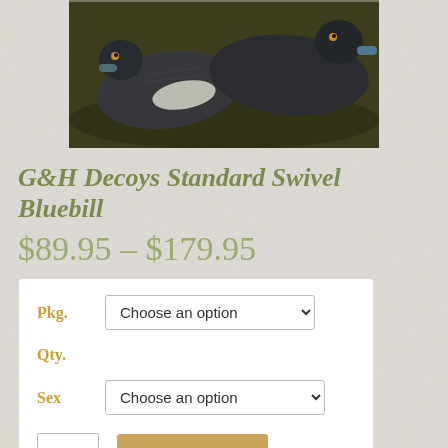[Figure (photo): Photo of G&H Decoys Standard Swivel Bluebill duck decoys floating on dark water. Two dark-colored duck decoys are visible, one showing a white wing patch.]
G&H Decoys Standard Swivel Bluebill
$89.95 – $179.95
| Pkg. | Choose an option |
| Qty. |  |
| Sex | Choose an option |